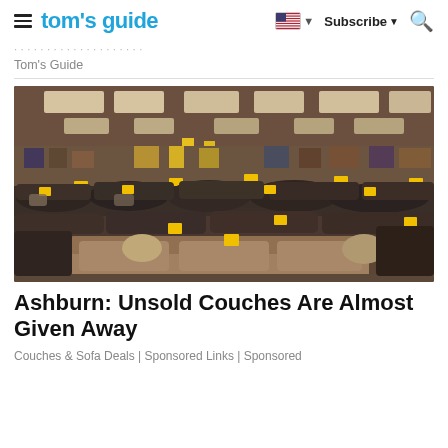tom's guide | Subscribe | Search
Tom's Guide
[Figure (photo): Interior of a furniture showroom with rows of couches and sofas with yellow price tags, photographed from inside the store showing a large warehouse-style layout with ceiling lights.]
Ashburn: Unsold Couches Are Almost Given Away
Couches & Sofa Deals | Sponsored Links | Sponsored